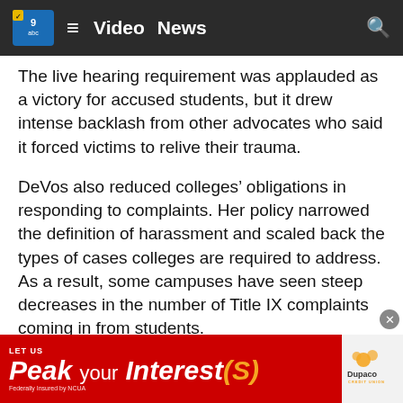Video  News
The live hearing requirement was applauded as a victory for accused students, but it drew intense backlash from other advocates who said it forced victims to relive their trauma.
DeVos also reduced colleges’ obligations in responding to complaints. Her policy narrowed the definition of harassment and scaled back the types of cases colleges are required to address. As a result, some campuses have seen steep decreases in the number of Title IX complaints coming in from students.
Under her rules, for example, colleges are not required to investigate most complaints that arise off campus, and they do not have to act on any complaint unless the alleged conduct is severe, pervasive and objectively offensive
[Figure (other): Advertisement banner: LET US Peak YOUR Interest(S) - Dupaco Credit Union]